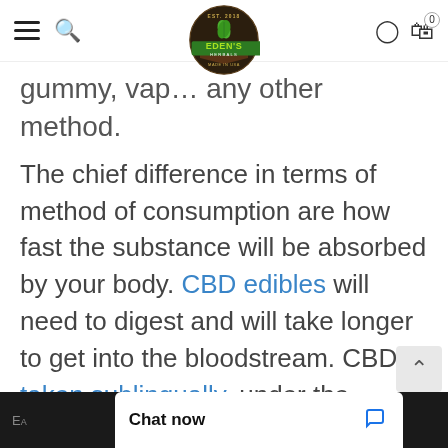Eden's Herbals navigation bar with hamburger menu, search, logo, user and cart icons
gummy, vap... any other method.
The chief difference in terms of method of consumption are how fast the substance will be absorbed by your body. CBD edibles will need to digest and will take longer to get into the bloodstream. CBD taken sublingually, under the tongue, will reach the bl...